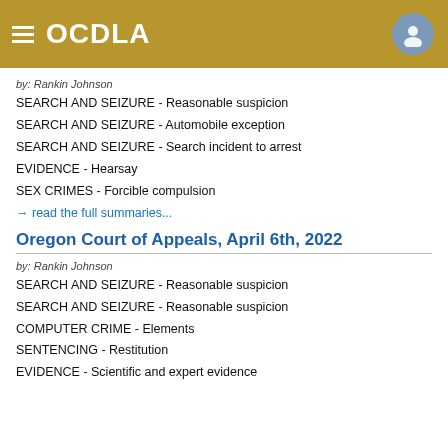OCDLA
by: Rankin Johnson
SEARCH AND SEIZURE - Reasonable suspicion
SEARCH AND SEIZURE - Automobile exception
SEARCH AND SEIZURE - Search incident to arrest
EVIDENCE - Hearsay
SEX CRIMES - Forcible compulsion
→ read the full summaries...
Oregon Court of Appeals, April 6th, 2022
by: Rankin Johnson
SEARCH AND SEIZURE - Reasonable suspicion
SEARCH AND SEIZURE - Reasonable suspicion
COMPUTER CRIME - Elements
SENTENCING - Restitution
EVIDENCE - Scientific and expert evidence